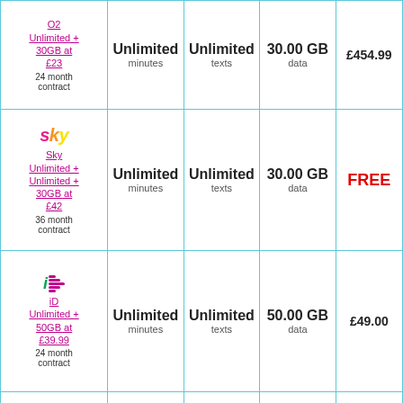| Plan | Minutes | Texts | Data | Price |
| --- | --- | --- | --- | --- |
| O2 Unlimited + 30GB at £23, 24 month contract | Unlimited minutes | Unlimited texts | 30.00 GB data | £454.99 |
| Sky Unlimited + Unlimited + 30GB at £42, 36 month contract | Unlimited minutes | Unlimited texts | 30.00 GB data | FREE |
| iD Unlimited + 50GB at £39.99, 24 month contract | Unlimited minutes | Unlimited texts | 50.00 GB data | £49.00 |
| O2 Unlimited + 20GB at ..., ... month contract | Unlimited minutes | Unlimited texts | 20.00 GB data | £504.99 |